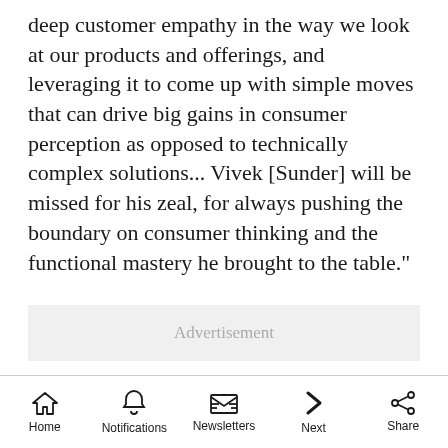deep customer empathy in the way we look at our products and offerings, and leveraging it to come up with simple moves that can drive big gains in consumer perception as opposed to technically complex solutions... Vivek [Sunder] will be missed for his zeal, for always pushing the boundary on consumer thinking and the functional mastery he brought to the table."
[Figure (other): Advertisement placeholder box with gray background and 'Advertisement' label text in light gray]
Home  Notifications  Newsletters  Next  Share